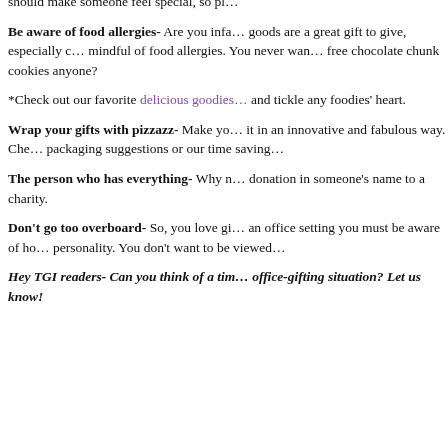should make someone feel special, so pl…
Be aware of food allergies- Are you infa… goods are a great gift to give, especially c… mindful of food allergies. You never wan… free chocolate chunk cookies anyone?
*Check out our favorite delicious goodies and tickle any foodies' heart.
Wrap your gifts with pizzazz- Make you… it in an innovative and fabulous way. Che… packaging suggestions or our time saving…
The person who has everything- Why n… donation in someone's name to a charity.
Don't go too overboard- So, you love gi… an office setting you must be aware of ho… personality. You don't want to be viewed…
Hey TGI readers- Can you think of a tim… office-gifting situation? Let us know!